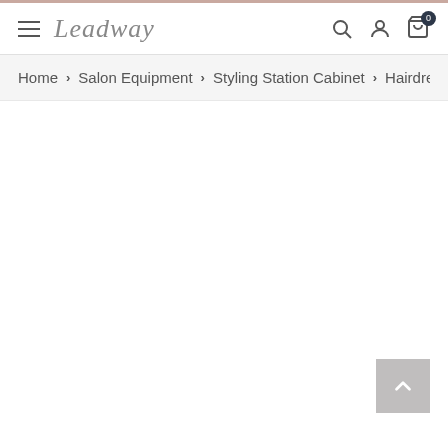Leadway — navigation header with hamburger menu, logo, search, account, and cart icons
Home > Salon Equipment > Styling Station Cabinet > Hairdressin…